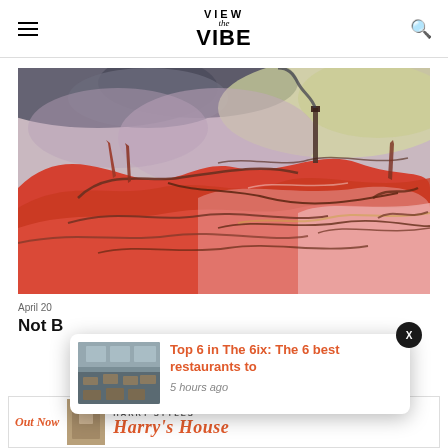VIEW the VIBE
[Figure (illustration): Abstract expressionist painting with swirling red, pink, and orange tones depicting a reclining figure or landscape with dark smoky sky and industrial chimneys in background]
April 20
Not B...
[Figure (screenshot): Notification popup overlay showing a restaurant interior thumbnail image with text 'Top 6 in The 6ix: The 6 best restaurants to' in orange and '5 hours ago' in grey, with an X close button]
[Figure (illustration): Bottom advertisement strip showing 'Out Now' text in red italic, a small thumbnail image, Harry Styles logo text, and 'Harry's House' album title in red italic script]